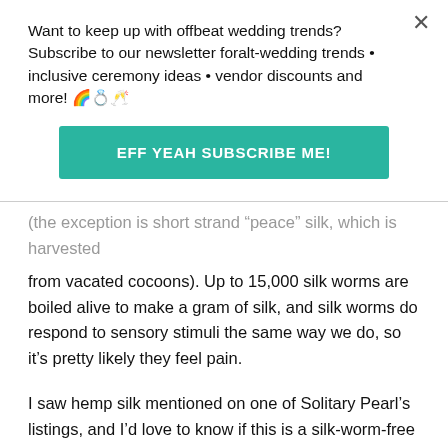Want to keep up with offbeat wedding trends?Subscribe to our newsletter for​alt-wedding trends • inclusive ceremony ideas • vendor discounts and more! 🌈💍🥂
[Figure (other): Teal/green subscribe button with text EFF YEAH SUBSCRIBE ME!]
(the exception is short strand "peace" silk, which is harvested from vacated cocoons). Up to 15,000 silk worms are boiled alive to make a gram of silk, and silk worms do respond to sensory stimuli the same way we do, so it’s pretty likely they feel pain.
I saw hemp silk mentioned on one of Solitary Pearl’s listings, and I’d love to know if this is a silk-worm-free alternative to silk, which would be really cool! However, I also saw just plain silk, so I’m curious if this is peace silk or if it’s traditionally made silk, which unfortunately involves a lot of animal cruelty.